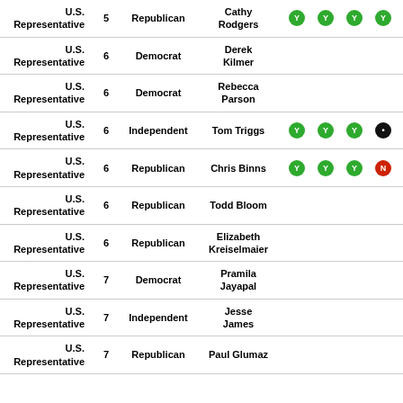| Role | Dist | Party | Name | V1 | V2 | V3 | V4 | V5 |
| --- | --- | --- | --- | --- | --- | --- | --- | --- |
| U.S. Representative | 5 | Republican | Cathy Rodgers | Y | Y | Y | Y | Y |
| U.S. Representative | 6 | Democrat | Derek Kilmer |  |  |  |  |  |
| U.S. Representative | 6 | Democrat | Rebecca Parson |  |  |  |  |  |
| U.S. Representative | 6 | Independent | Tom Triggs | Y | Y | Y | • | Y |
| U.S. Representative | 6 | Republican | Chris Binns | Y | Y | Y | N | Y |
| U.S. Representative | 6 | Republican | Todd Bloom |  |  |  |  |  |
| U.S. Representative | 6 | Republican | Elizabeth Kreiselmaier |  |  |  |  |  |
| U.S. Representative | 7 | Democrat | Pramila Jayapal |  |  |  |  |  |
| U.S. Representative | 7 | Independent | Jesse James |  |  |  |  |  |
| U.S. Representative | 7 | Republican | Paul Glumaz |  |  |  |  |  |